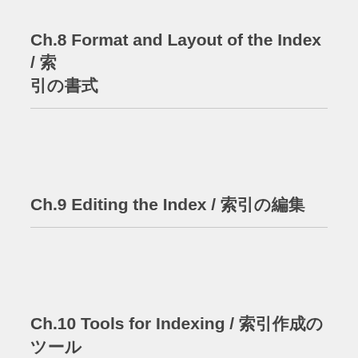Ch.8 Format and Layout of the Index / 索引の書式
Ch.9 Editing the Index / 索引の編集
Ch.10 Tools for Indexing / 索引作成のツール